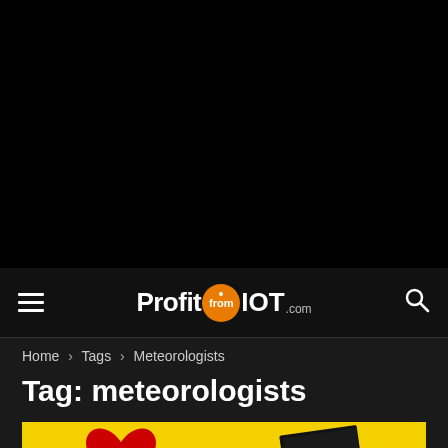[Figure (screenshot): Black top hero/header area of a website]
ProfitfromIOT.com
Home › Tags › Meteorologists
Tag: meteorologists
[Figure (photo): Yellow advertisement banner with a red heart and an Express magazine cover]